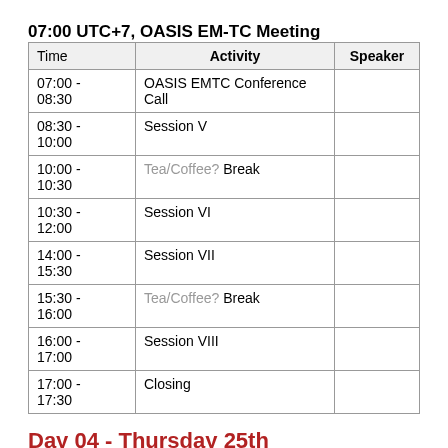07:00 UTC+7, OASIS EM-TC Meeting
| Time | Activity | Speaker |
| --- | --- | --- |
| 07:00 - 08:30 | OASIS EMTC Conference Call |  |
| 08:30 - 10:00 | Session V |  |
| 10:00 - 10:30 | Tea/Coffee? Break |  |
| 10:30 - 12:00 | Session VI |  |
| 14:00 - 15:30 | Session VII |  |
| 15:30 - 16:00 | Tea/Coffee? Break |  |
| 16:00 - 17:00 | Session VIII |  |
| 17:00 - 17:30 | Closing |  |
Day 04 - Thursday 25th